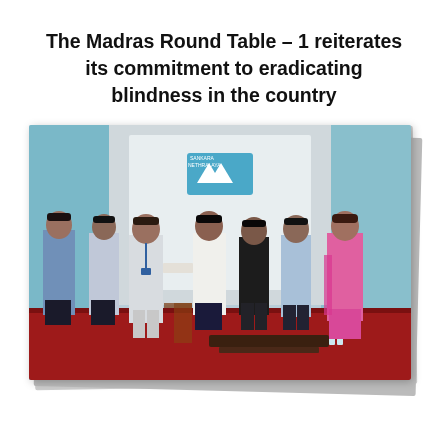The Madras Round Table – 1 reiterates its commitment to eradicating blindness in the country
[Figure (photo): Group photo of seven people at an indoor event at Sankara Nethralaya. A man in white kurta-pajama receives a document/cheque from a man in white shirt. Five others stand alongside. Red carpet floor, projection screen with Sankara Nethralaya logo in background.]